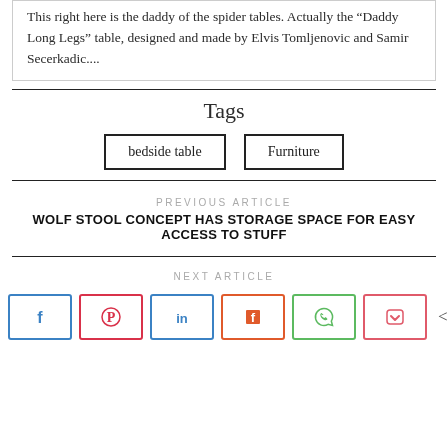This right here is the daddy of the spider tables. Actually the “Daddy Long Legs” table, designed and made by Elvis Tomljenovic and Samir Secerkadic....
Tags
bedside table | Furniture
PREVIOUS ARTICLE
WOLF STOOL CONCEPT HAS STORAGE SPACE FOR EASY ACCESS TO STUFF
NEXT ARTICLE
< 11 SHARES